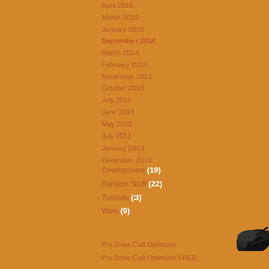April 2015
March 2015
January 2015
September 2014
March 2014
February 2014
November 2013
October 2013
July 2013
June 2013
May 2013
July 2013
January 2013
December 2010
Development (19)
Random Stuff (22)
Tutorials (3)
Work (9)
Pro Draw Call Optimizer
Pro Draw Call Optimizer FREE